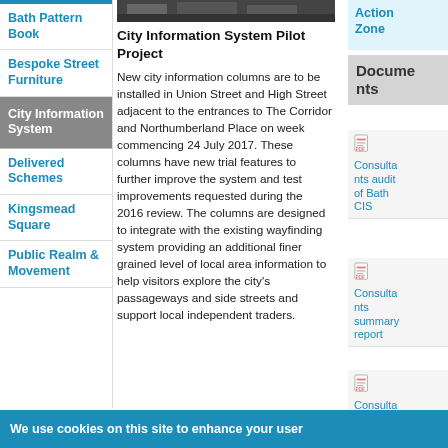[Figure (photo): Top banner photo, partially visible, showing a street scene in Bath]
Bath Pattern Book
Bespoke Street Furniture
City Information System
Delivered Schemes
Kingsmead Square
Public Realm & Movement
City Information System Pilot Project
New city information columns are to be installed in Union Street and High Street adjacent to the entrances to The Corridor and Northumberland Place on week commencing 24 July 2017. These columns have new trial features to further improve the system and test improvements requested during the 2016 review. The columns are designed to integrate with the existing wayfinding system providing an additional finer grained level of local area information to help visitors explore the city's passageways and side streets and support local independent traders.
Documents
Consultants audit of Bath CIS
Consultants summary report
Consultants full
We use cookies on this site to enhance your user